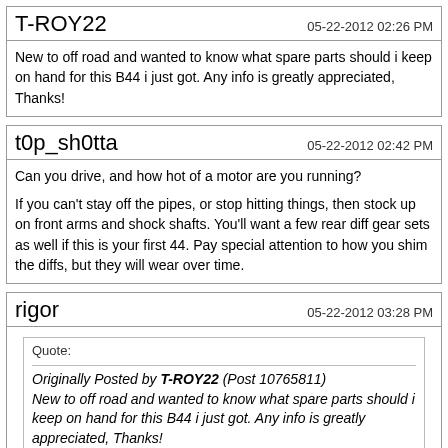T-ROY22
05-22-2012 02:26 PM
New to off road and wanted to know what spare parts should i keep on hand for this B44 i just got. Any info is greatly appreciated, Thanks!
t0p_sh0tta
05-22-2012 02:42 PM
Can you drive, and how hot of a motor are you running?

If you can't stay off the pipes, or stop hitting things, then stock up on front arms and shock shafts. You'll want a few rear diff gear sets as well if this is your first 44. Pay special attention to how you shim the diffs, but they will wear over time.
rigor
05-22-2012 03:28 PM
Quote:
Originally Posted by T-ROY22 (Post 10765811)
New to off road and wanted to know what spare parts should i keep on hand for this B44 i just got. Any info is greatly appreciated, Thanks!

I'm new to the B44.1 as well with about 4 years racing experience, but that racing was nearly 20 years ago.